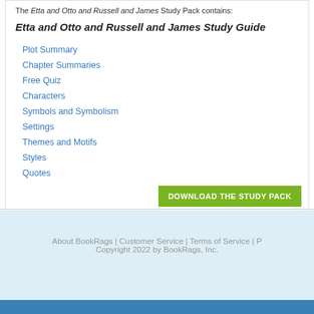The Etta and Otto and Russell and James Study Pack contains:
Etta and Otto and Russell and James Study Guide
Plot Summary
Chapter Summaries
Free Quiz
Characters
Symbols and Symbolism
Settings
Themes and Motifs
Styles
Quotes
DOWNLOAD THE STUDY PACK
About BookRags | Customer Service | Terms of Service | P
Copyright 2022 by BookRags, Inc.